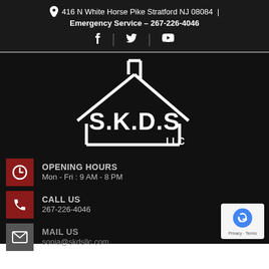416 N White Horse Pike Stratford NJ 08084  |  Emergency Service – 267-226-4046
[Figure (logo): Social media icons: Facebook, Twitter, YouTube separated by vertical dividers]
[Figure (logo): S.K.D.S LLC logo — white house/roof outline with text S.K.D.S LLC on black background]
OPENING HOURS
Mon - Fri : 9 AM - 8 PM
CALL US
267-226-4046
MAIL US
sonia@skdsllc.com